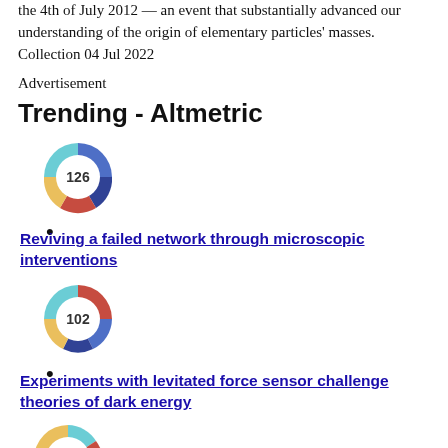the 4th of July 2012 — an event that substantially advanced our understanding of the origin of elementary particles' masses. Collection 04 Jul 2022
Advertisement
Trending - Altmetric
[Figure (infographic): Altmetric donut badge showing score 126, multicolored ring in blue, red, yellow tones]
Reviving a failed network through microscopic interventions
[Figure (infographic): Altmetric donut badge showing score 102, multicolored ring in blue, red, yellow tones]
Experiments with levitated force sensor challenge theories of dark energy
[Figure (infographic): Altmetric donut badge, partial view at bottom, teal and red colors]